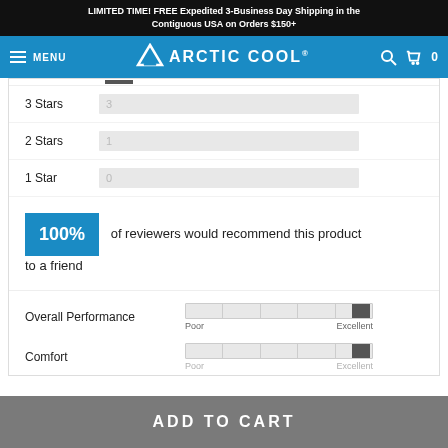LIMITED TIME! FREE Expedited 3-Business Day Shipping in the Contiguous USA on Orders $150+
MENU | ARCTIC COOL | 0
[Figure (bar-chart): Star Ratings]
100% of reviewers would recommend this product to a friend
[Figure (infographic): Overall Performance slider from Poor to Excellent, thumb near Excellent]
[Figure (infographic): Comfort slider from Poor to Excellent, thumb near Excellent]
ADD TO CART